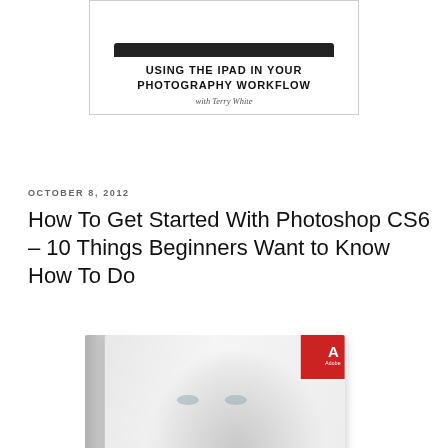[Figure (screenshot): Book/course cover for 'Using the iPad in Your Photography Workflow with Terry White' — showing a tablet device image with text overlay inside a bordered box]
OCTOBER 8, 2012
How To Get Started With Photoshop CS6 – 10 Things Beginners Want to Know How To Do
[Figure (photo): Adobe Photoshop CS6 retail box showing a close-up face with the Adobe logo red tag in the upper right corner]